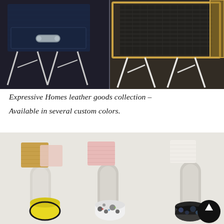[Figure (photo): Two luxury furniture side tables with leather-wrapped surfaces. Left table has a navy blue crocodile-textured drawer with silver metal handle on a chrome X-frame stand. Right table has a dark woven/croc-textured top on a white and gold X-frame stand.]
Expressive Homes leather goods collection – Available in several custom colors.
[Figure (photo): Display of leather material swatches mounted on white holder stands against a white wall. Swatches visible include gold/tan, pink, white/cream at top, and yellow, black-and-white floral, and dark floral pattern rolls at bottom.]